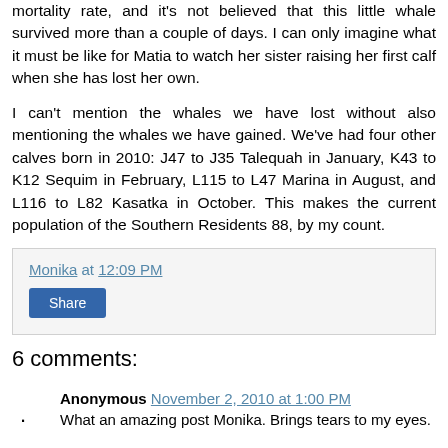mortality rate, and it's not believed that this little whale survived more than a couple of days. I can only imagine what it must be like for Matia to watch her sister raising her first calf when she has lost her own.
I can't mention the whales we have lost without also mentioning the whales we have gained. We've had four other calves born in 2010: J47 to J35 Talequah in January, K43 to K12 Sequim in February, L115 to L47 Marina in August, and L116 to L82 Kasatka in October. This makes the current population of the Southern Residents 88, by my count.
Monika at 12:09 PM
Share
6 comments:
Anonymous November 2, 2010 at 1:00 PM
What an amazing post Monika. Brings tears to my eyes.